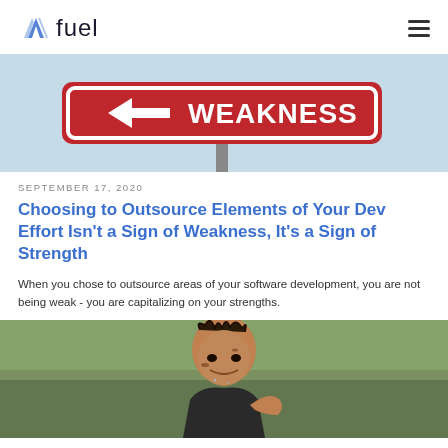fuel
[Figure (photo): Red street sign reading WEAKNESS with a left arrow, against a light blue/grey background]
SEPTEMBER 17, 2020
Choosing to Outsource Elements of Your Dev Effort Isn't a Sign of Weakness, It's a Sign of Strength
When you chose to outsource areas of your software development, you are not being weak - you are capitalizing on your strengths.
[Figure (photo): A man with wet, disheveled hair looking intense and determined, appearing to be in a tough outdoor setting]